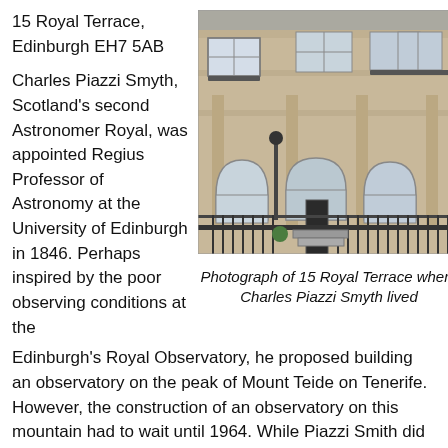15 Royal Terrace, Edinburgh EH7 5AB
Charles Piazzi Smyth, Scotland's second Astronomer Royal, was appointed Regius Professor of Astronomy at the University of Edinburgh in 1846. Perhaps inspired by the poor observing conditions at the Edinburgh's Royal Observatory, he proposed building an observatory on the peak of Mount Teide on Tenerife. However, the construction of an observatory on this mountain had to wait until 1964. While Piazzi Smith did important work on spectroscopy, he is perhaps better remembered for his
[Figure (photo): Photograph of a Georgian stone terraced townhouse at 15 Royal Terrace, Edinburgh, showing arched ground-floor windows, iron railings, and classical columns]
Photograph of 15 Royal Terrace where Charles Piazzi Smyth lived